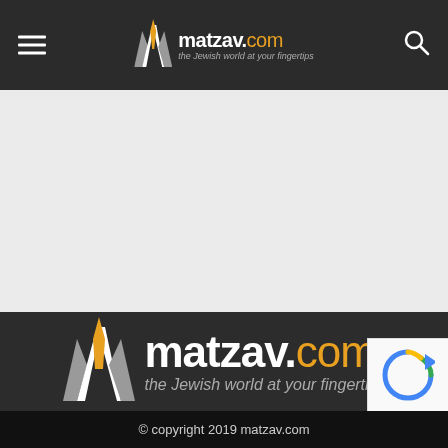matzav.com — the Jewish world at your fingertips
[Figure (logo): matzav.com logo with orange M icon and tagline 'the Jewish world at your fingertips' on dark background, centered in footer section]
© copyright 2019 matzav.com